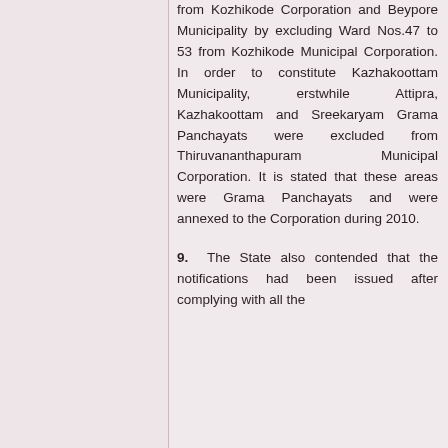from Kozhikode Corporation and Beypore Municipality by excluding Ward Nos.47 to 53 from Kozhikode Municipal Corporation. In order to constitute Kazhakoottam Municipality, erstwhile Attipra, Kazhakoottam and Sreekaryam Grama Panchayats were excluded from Thiruvananthapuram Municipal Corporation. It is stated that these areas were Grama Panchayats and were annexed to the Corporation during 2010.
9. The State also contended that the notifications had been issued after complying with all the